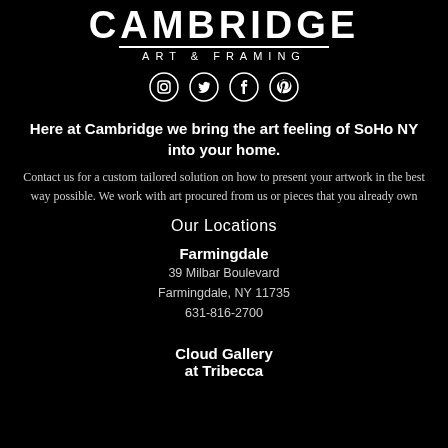[Figure (logo): Cambridge Art & Framing logo in white on black background, with social media icons below (Instagram, Twitter, Facebook, Pinterest)]
Here at Cambridge we bring the art feeling of SoHo NY into your home.
Contact us for a custom tailored solution on how to present your artwork in the best way possible. We work with art procured from us or pieces that you already own
Our Locations
Farmingdale
39 Milbar Boulevard
Farmingdale, NY 11735
631-816-2700
Cloud Gallery
at Tribecca